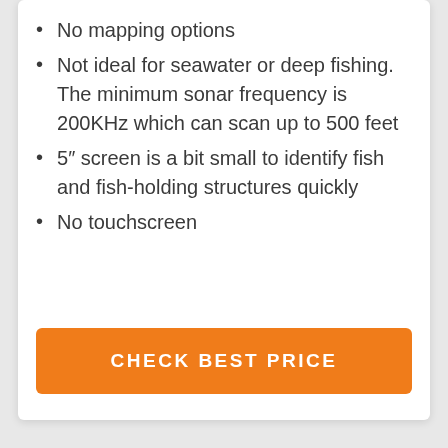No mapping options
Not ideal for seawater or deep fishing. The minimum sonar frequency is 200KHz which can scan up to 500 feet
5″ screen is a bit small to identify fish and fish-holding structures quickly
No touchscreen
CHECK BEST PRICE